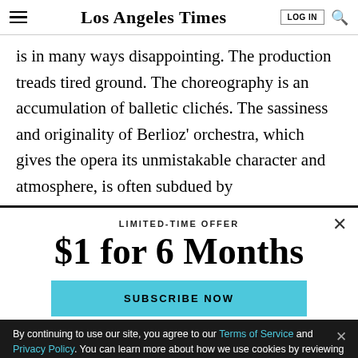Los Angeles Times
is in many ways disappointing. The production treads tired ground. The choreography is an accumulation of balletic clichés. The sassiness and originality of Berlioz' orchestra, which gives the opera its unmistakable character and atmosphere, is often subdued by
LIMITED-TIME OFFER
$1 for 6 Months
SUBSCRIBE NOW
By continuing to use our site, you agree to our Terms of Service and Privacy Policy. You can learn more about how we use cookies by reviewing our Privacy Policy. Close